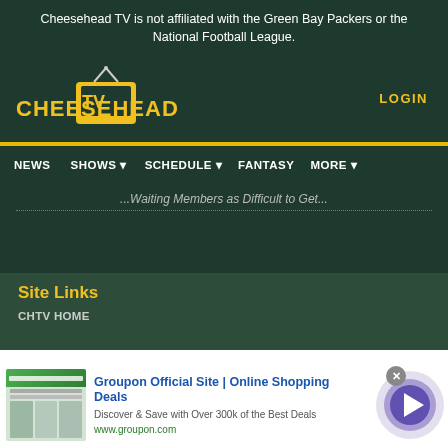Cheesehead TV is not affiliated with the Green Bay Packers or the National Football League.
[Figure (logo): Cheesehead TV logo with yellow text and TV icon]
LOGIN
NEWS  SHOWS  SCHEDULE  FANTASY  MORE
...Waiting Members as Difficult to Get...
Site Links
CHTV HOME
[Figure (screenshot): Groupon advertisement banner: Groupon Official Site | Online Shopping Deals. Discover & Save with Over 300k of the Best Deals. www.groupon.com]